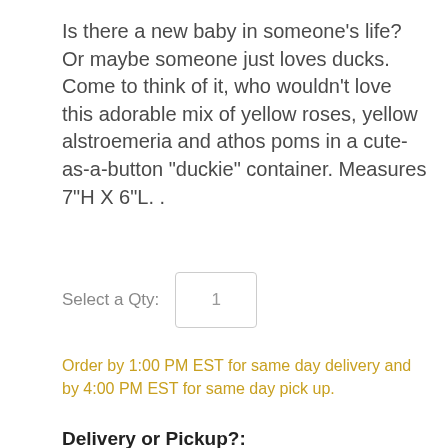Is there a new baby in someone's life? Or maybe someone just loves ducks. Come to think of it, who wouldn't love this adorable mix of yellow roses, yellow alstroemeria and athos poms in a cute-as-a-button "duckie" container. Measures 7"H X 6"L. .
Select a Qty: 1
Order by 1:00 PM EST for same day delivery and by 4:00 PM EST for same day pick up.
Delivery or Pickup?: